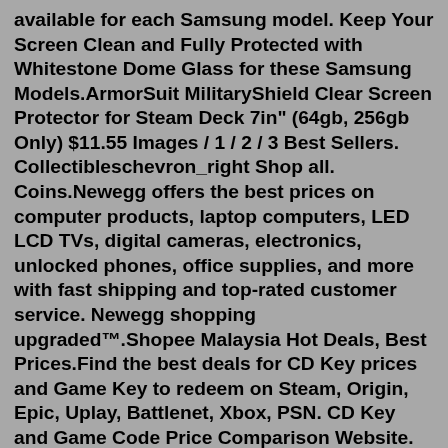available for each Samsung model. Keep Your Screen Clean and Fully Protected with Whitestone Dome Glass for these Samsung Models.ArmorSuit MilitaryShield Clear Screen Protector for Steam Deck 7in" (64gb, 256gb Only) $11.55 Images / 1 / 2 / 3 Best Sellers. Collectibleschevron_right Shop all. Coins.Newegg offers the best prices on computer products, laptop computers, LED LCD TVs, digital cameras, electronics, unlocked phones, office supplies, and more with fast shipping and top-rated customer service. Newegg shopping upgraded™.Shopee Malaysia Hot Deals, Best Prices.Find the best deals for CD Key prices and Game Key to redeem on Steam, Origin, Epic, Uplay, Battlenet, Xbox, PSN. CD Key and Game Code Price Comparison Website. Compare prices from over 80 shops and find the best game deals with our exclusive promo codes for PC game keys...Feb 28, 2022 · dbrand announces Steam Deck screen protectors. Not only are dbrand working to bring out a fancy case for the Steam Deck with a